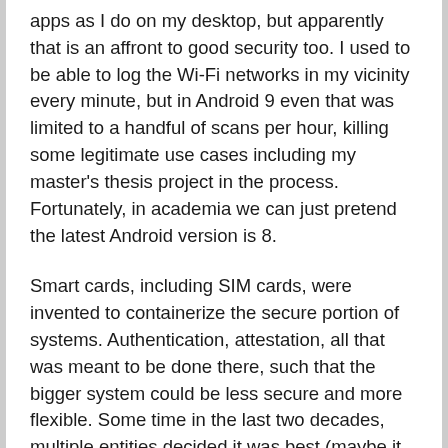apps as I do on my desktop, but apparently that is an affront to good security too. I used to be able to log the Wi-Fi networks in my vicinity every minute, but in Android 9 even that was limited to a handful of scans per hour, killing some legitimate use cases including my master's thesis project in the process. Fortunately, in academia we can just pretend the latest Android version is 8.
Smart cards, including SIM cards, were invented to containerize the secure portion of systems. Authentication, attestation, all that was meant to be done there, such that the bigger system could be less secure and more flexible. Some time in the last two decades, multiple entities decided it was best (maybe it provided “better user experience”?) that important